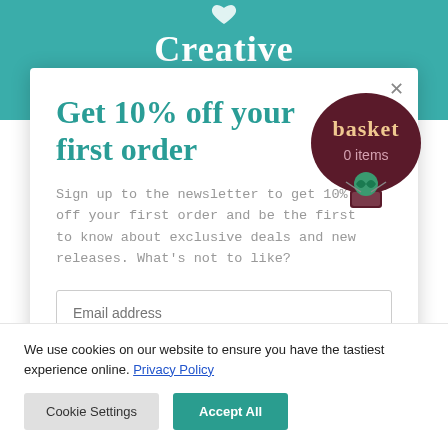Creative
Get 10% off your first order
Sign up to the newsletter to get 10% off your first order and be the first to know about exclusive deals and new releases. What's not to like?
[Figure (illustration): Dark red hot air balloon badge with text 'basket 0 items']
Email address
We use cookies on our website to ensure you have the tastiest experience online. Privacy Policy
Cookie Settings
Accept All